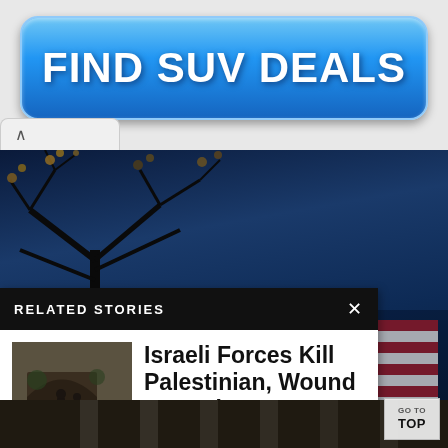[Figure (infographic): Blue button-style advertisement banner reading FIND SUV DEALS in bold white text on a blue gradient rounded rectangle background]
[Figure (photo): News article page screenshot showing a dark blue sky with tree silhouettes at top, an American flag visible on the right, with a 'Related Stories' overlay panel in the lower left showing a thumbnail photo of people in rubble with a headline about Israeli Forces]
RELATED STORIES
Israeli Forces Kill Palestinian, Wound 16 During West Bank Raid